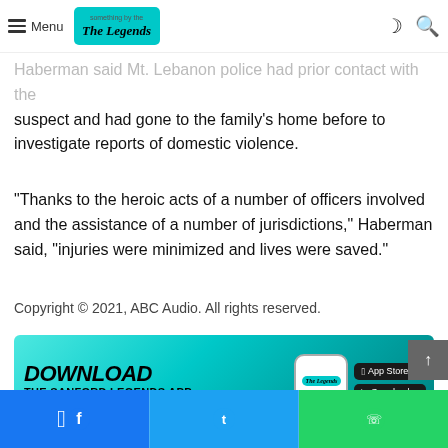Menu | The Legends [logo]
pending notification of relatives. Haberman said Mt. Lebanon police had prior contact with the suspect and had gone to the family's home before to investigate reports of domestic violence.
“Thanks to the heroic acts of a number of officers involved and the assistance of a number of jurisdictions,” Haberman said, “injuries were minimized and lives were saved.”
Copyright © 2021, ABC Audio. All rights reserved.
[Figure (infographic): DOWNLOAD The Sanford Legends App banner advertisement with App Store and Google Play buttons and app logo]
Facebook share | Twitter share | WhatsApp share